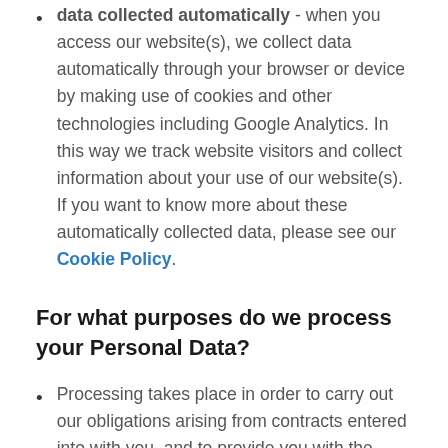data collected automatically - when you access our website(s), we collect data automatically through your browser or device by making use of cookies and other technologies including Google Analytics. In this way we track website visitors and collect information about your use of our website(s). If you want to know more about these automatically collected data, please see our Cookie Policy.
For what purposes do we process your Personal Data?
Processing takes place in order to carry out our obligations arising from contracts entered into with you, and to provide you with the information and services you request. This includes managing and handling your requests, inquiries or complaints, and sending you our invoices or paying your